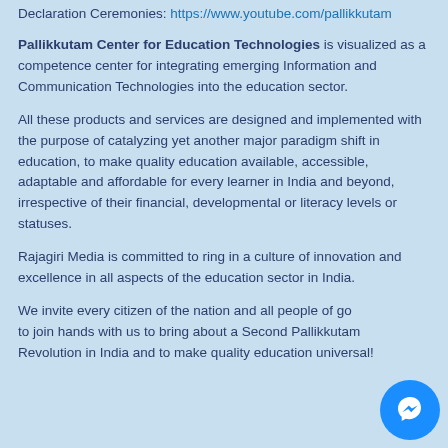Declaration Ceremonies: https://www.youtube.com/pallikkutam
Pallikkutam Center for Education Technologies is visualized as a competence center for integrating emerging Information and Communication Technologies into the education sector.
All these products and services are designed and implemented with the purpose of catalyzing yet another major paradigm shift in education, to make quality education available, accessible, adaptable and affordable for every learner in India and beyond, irrespective of their financial, developmental or literacy levels or statuses.
Rajagiri Media is committed to ring in a culture of innovation and excellence in all aspects of the education sector in India.
We invite every citizen of the nation and all people of goodwill to join hands with us to bring about a Second Pallikkutam Revolution in India and to make quality education universal!